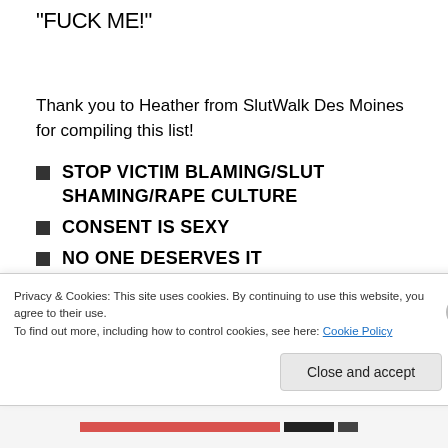"FUCK ME!"
Thank you to Heather from SlutWalk Des Moines for compiling this list!
STOP VICTIM BLAMING/SLUT SHAMING/RAPE CULTURE
CONSENT IS SEXY
NO ONE DESERVES IT
Privacy & Cookies: This site uses cookies. By continuing to use this website, you agree to their use. To find out more, including how to control cookies, see here: Cookie Policy
Close and accept